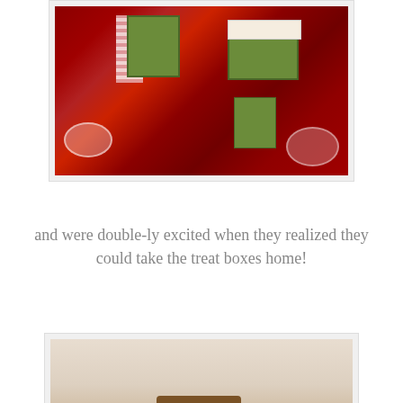[Figure (photo): Close-up photo of a holiday table setting with green gift/treat boxes on a red damask tablecloth, with decorative plates and holiday decorations visible.]
and were double-ly excited when they realized they could take the treat boxes home!
[Figure (photo): Wide view of a round dining table set for a holiday meal with red damask tablecloth, decorative plates, green treat boxes at each place setting, and floral centerpieces with orange and yellow flowers. Chairs and a dining room interior are visible in the background.]